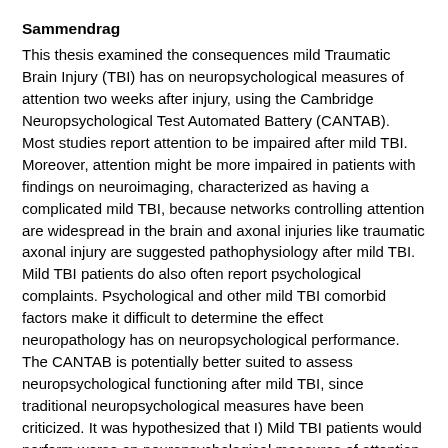Sammendrag
This thesis examined the consequences mild Traumatic Brain Injury (TBI) has on neuropsychological measures of attention two weeks after injury, using the Cambridge Neuropsychological Test Automated Battery (CANTAB). Most studies report attention to be impaired after mild TBI. Moreover, attention might be more impaired in patients with findings on neuroimaging, characterized as having a complicated mild TBI, because networks controlling attention are widespread in the brain and axonal injuries like traumatic axonal injury are suggested pathophysiology after mild TBI. Mild TBI patients do also often report psychological complaints. Psychological and other mild TBI comorbid factors make it difficult to determine the effect neuropathology has on neuropsychological performance. The CANTAB is potentially better suited to assess neuropsychological functioning after mild TBI, since traditional neuropsychological measures have been criticized. It was hypothesized that I) Mild TBI patients would perform worse on neuropsychological measures of attention and report more distress on selected self-reported measures than healthy matched controls 2 weeks after injury. II) That complicated mild TBI patients would perform worse on neuropsychological measures of attention than uncomplicated mild TBI patients and healthy matched controls